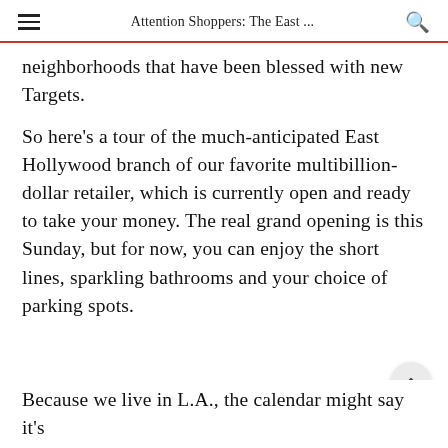Attention Shoppers: The East ...
neighborhoods that have been blessed with new Targets.
So here's a tour of the much-anticipated East Hollywood branch of our favorite multibillion-dollar retailer, which is currently open and ready to take your money. The real grand opening is this Sunday, but for now, you can enjoy the short lines, sparkling bathrooms and your choice of parking spots.
Because we live in L.A., the calendar might say it's